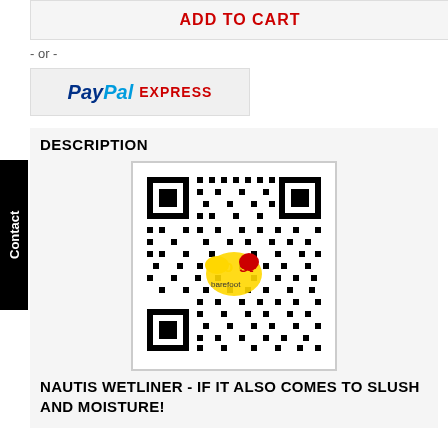ADD TO CART
- or -
[Figure (logo): PayPal EXPRESS logo with blue PayPal wordmark and red EXPRESS text]
DESCRIPTION
[Figure (other): QR code with Go Barefoot logo in center]
NAUTIS WETLINER - IF IT ALSO COMES TO SLUSH AND MOISTURE!